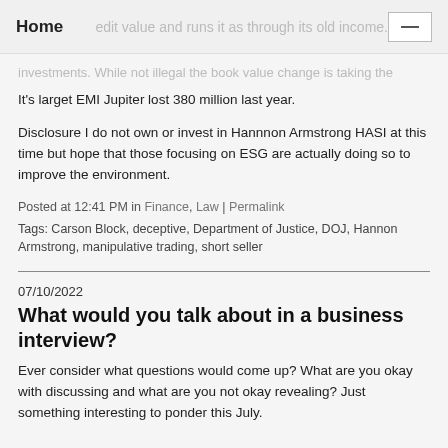Home
investments. While not illegal the book value change is taking the edit value and runs it as through its old income.
It's larget EMI Jupiter lost 380 million last year.
Disclosure I do not own or invest in Hannnon Armstrong HASI at this time but hope that those focusing on ESG are actually doing so to improve the environment.
Posted at 12:41 PM in Finance, Law | Permalink
Tags: Carson Block, deceptive, Department of Justice, DOJ, Hannon Armstrong, manipulative trading, short seller
07/10/2022
What would you talk about in a business interview?
Ever consider what questions would come up? What are you okay with discussing and what are you not okay revealing? Just something interesting to ponder this July.